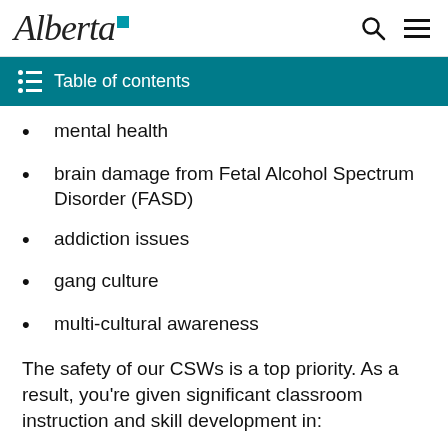Alberta [logo]
Table of contents
mental health
brain damage from Fetal Alcohol Spectrum Disorder (FASD)
addiction issues
gang culture
multi-cultural awareness
The safety of our CSWs is a top priority. As a result, you're given significant classroom instruction and skill development in: